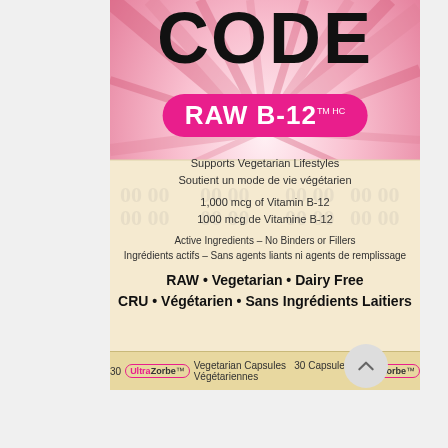[Figure (photo): Product label for Garden of Life Code Raw B-12 supplement. Pink radiating sunburst background with 'CODE' in large black letters at top, 'RAW B-12 TM HC' in white text on pink oval badge. Cream lower section with product claims in English and French. Bottom strip shows 30 UltraZorbe Vegetarian Capsules.]
CODE
RAW B-12 TM HC
Supports Vegetarian Lifestyles
Soutient un mode de vie végétarien
1,000 mcg of Vitamin B-12
1000 mcg de Vitamine B-12
Active Ingredients – No Binders or Fillers
Ingrédients actifs – Sans agents liants ni agents de remplissage
RAW • Vegetarian • Dairy Free
CRU • Végétarien • Sans Ingrédients Laitiers
30 UltraZorbe™ Vegetarian Capsules  30 Capsules Végétariennes UltraZorbe™